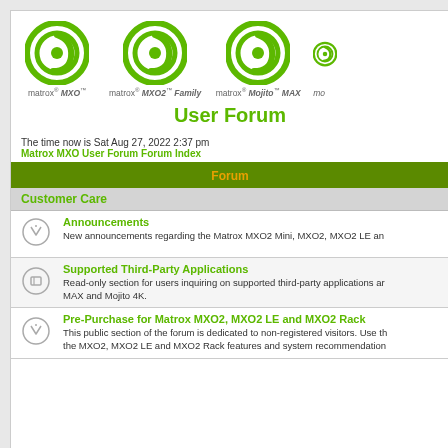[Figure (logo): Three Matrox green circular logos side by side: matrox MXO, matrox MXO2 Family, matrox Mojito MAX]
User Forum
The time now is Sat Aug 27, 2022 2:37 pm
Matrox MXO User Forum Forum Index
| Forum |
| --- |
| Customer Care |
| Announcements | New announcements regarding the Matrox MXO2 Mini, MXO2, MXO2 LE and |
| Supported Third-Party Applications | Read-only section for users inquiring on supported third-party applications ar MAX and Mojito 4K. |
| Pre-Purchase for Matrox MXO2, MXO2 LE and MXO2 Rack | This public section of the forum is dedicated to non-registered visitors. Use th the MXO2, MXO2 LE and MXO2 Rack features and system recommendation |